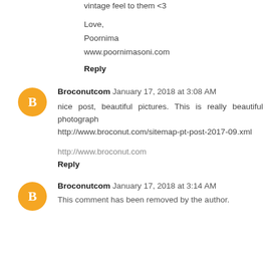Your blog is beautiful and your pictures have such a nice vintage feel to them <3
Love,
Poornima
www.poornimasoni.com
Reply
Broconutcom  January 17, 2018 at 3:08 AM
nice post, beautiful pictures. This is really beautiful photograph
http://www.broconut.com/sitemap-pt-post-2017-09.xml
http://www.broconut.com
Reply
Broconutcom  January 17, 2018 at 3:14 AM
This comment has been removed by the author.